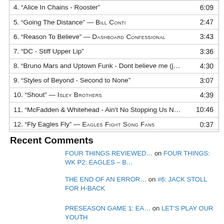| Track | Duration |
| --- | --- |
| 4. “Alice In Chains - Rooster” | 6:09 |
| 5. “Going The Distance” — BILL CONTI | 2:47 |
| 6. “Reason To Believe” — DASHBOARD CONFESSIONAL | 3:43 |
| 7. “DC - Stiff Upper Lip” | 3:36 |
| 8. “Bruno Mars and Uptown Funk - Dont believe me (j… | 4:30 |
| 9. “Styles of Beyond - Second to None” | 3:07 |
| 10. “Shout” — ISLEY BROTHERS | 4:39 |
| 11. “McFadden & Whitehead - Ain't No Stopping Us N… | 10:46 |
| 12. “Fly Eagles Fly” — EAGLES FIGHT SONG FANS | 0:37 |
Recent Comments
FOUR THINGS REVIEWED… on FOUR THINGS: WK P2: EAGLES – B…
THE END OF AN ERROR… on #6: JACK STOLL FOR H-BACK
PRESEASON GAME 1: EA… on LET’S PLAY OUR YOUTH